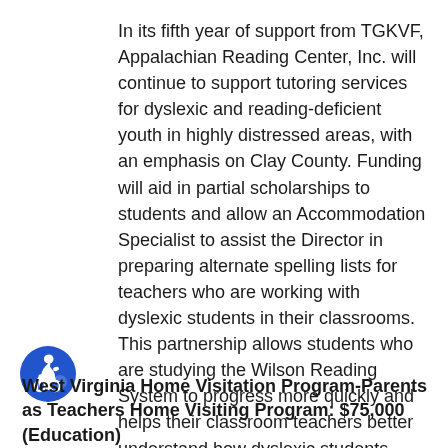In its fifth year of support from TGKVF, Appalachian Reading Center, Inc. will continue to support tutoring services for dyslexic and reading-deficient youth in highly distressed areas, with an emphasis on Clay County. Funding will aid in partial scholarships to students and allow an Accommodation Specialist to assist the Director in preparing alternate spelling lists for teachers who are working with dyslexic students in their classrooms. This partnership allows students who are studying the Wilson Reading System to progress more quickly and helps their classroom teachers better understand how dyslexic students learn.
West Virginia Home Visitation Program-Parents as Teachers Home Visiting Program: $75,000 (Education)